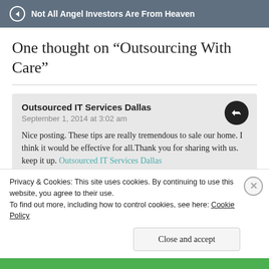Not All Angel Investors Are From Heaven
One thought on “Outsourcing With Care”
Outsourced IT Services Dallas
September 1, 2014 at 3:02 am

Nice posting. These tips are really tremendous to sale our home. I think it would be effective for all.Thank you for sharing with us. keep it up. Outsourced IT Services Dallas
Privacy & Cookies: This site uses cookies. By continuing to use this website, you agree to their use.
To find out more, including how to control cookies, see here: Cookie Policy
Close and accept